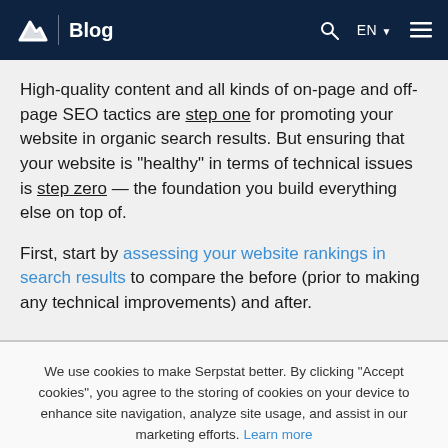Blog
High-quality content and all kinds of on-page and off-page SEO tactics are step one for promoting your website in organic search results. But ensuring that your website is "healthy" in terms of technical issues is step zero — the foundation you build everything else on top of.
First, start by assessing your website rankings in search results to compare the before (prior to making any technical improvements) and after.
We use cookies to make Serpstat better. By clicking "Accept cookies", you agree to the storing of cookies on your device to enhance site navigation, analyze site usage, and assist in our marketing efforts. Learn more
Accept cookies